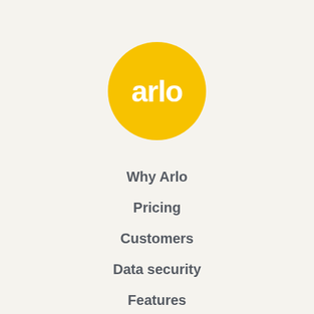[Figure (logo): Arlo logo: yellow/gold circle with white rounded text 'arlo' inside]
Why Arlo
Pricing
Customers
Data security
Features
Solutions